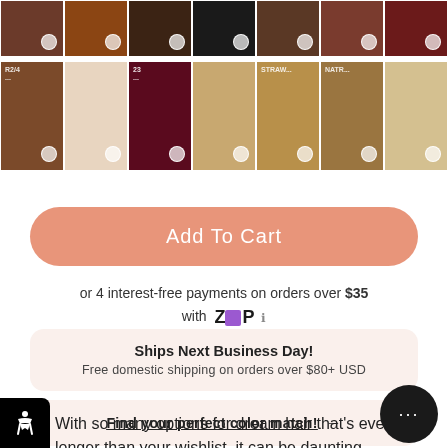[Figure (photo): Two rows of hair color swatch thumbnails showing various hair colors from dark brown/black to auburn, burgundy, blonde, and platinum shades with small circular selector indicators.]
Add To Cart
or 4 interest-free payments on orders over $35 with ZIP ℹ
Ships Next Business Day!
Free domestic shipping on orders over $80+ USD
Find your perfect color match! →
With so many options for dream hair that's even longer than your wishlist, it can be daunting for beginner babes to know where to start!
To help, we wrapped up your full routine for effortlessly gorgeous hair this holiday (basically...